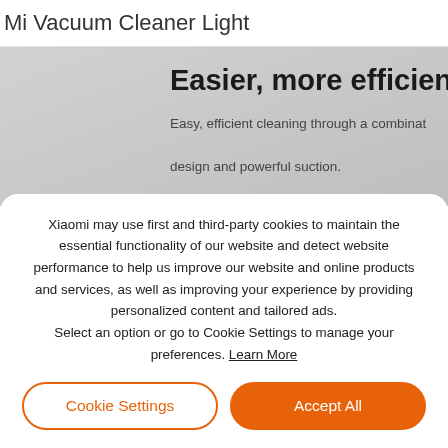Mi Vacuum Cleaner Light
Easier, more efficient
Easy, efficient cleaning through a combination of design and powerful suction.
Xiaomi may use first and third-party cookies to maintain the essential functionality of our website and detect website performance to help us improve our website and online products and services, as well as improving your experience by providing personalized content and tailored ads. Select an option or go to Cookie Settings to manage your preferences. Learn More